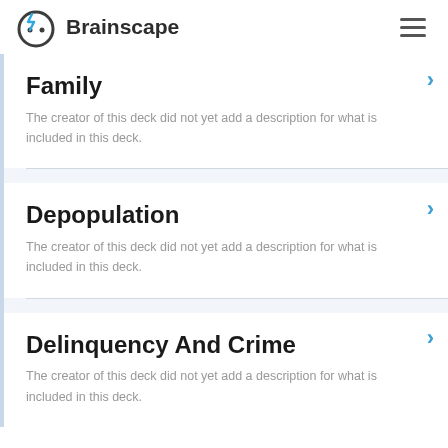Brainscape
Family
The creator of this deck did not yet add a description for what is included in this deck.
Depopulation
The creator of this deck did not yet add a description for what is included in this deck.
Delinquency And Crime
The creator of this deck did not yet add a description for what is included in this deck.